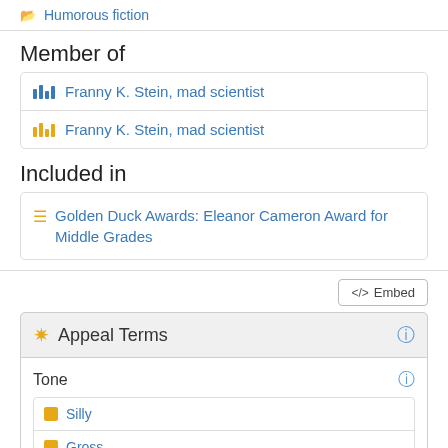Humorous fiction
Member of
Franny K. Stein, mad scientist
Franny K. Stein, mad scientist
Included in
Golden Duck Awards: Eleanor Cameron Award for Middle Grades
Embed
Appeal Terms
Tone
Silly
Gross